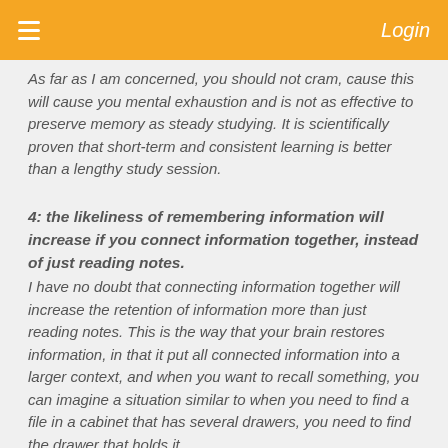Login
As far as I am concerned, you should not cram, cause this will cause you mental exhaustion and is not as effective to preserve memory as steady studying. It is scientifically proven that short-term and consistent learning is better than a lengthy study session.
4: the likeliness of remembering information will increase if you connect information together, instead of just reading notes.
I have no doubt that connecting information together will increase the retention of information more than just reading notes. This is the way that your brain restores information, in that it put all connected information into a larger context, and when you want to recall something, you can imagine a situation similar to when you need to find a file in a cabinet that has several drawers, you need to find the drawer that holds it...